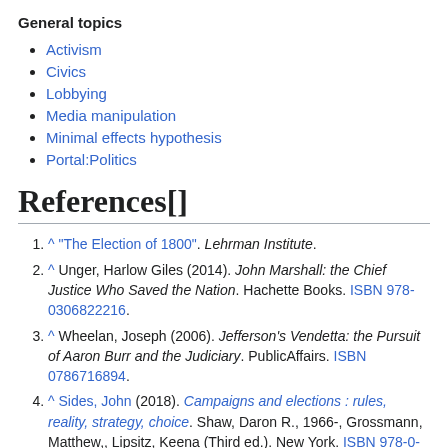General topics
Activism
Civics
Lobbying
Media manipulation
Minimal effects hypothesis
Portal:Politics
References[]
^ "The Election of 1800". Lehrman Institute.
^ Unger, Harlow Giles (2014). John Marshall: the Chief Justice Who Saved the Nation. Hachette Books. ISBN 978-0306822216.
^ Wheelan, Joseph (2006). Jefferson's Vendetta: the Pursuit of Aaron Burr and the Judiciary. PublicAffairs. ISBN 0786716894.
^ Sides, John (2018). Campaigns and elections : rules, reality, strategy, choice. Shaw, Daron R., 1966-, Grossmann, Matthew,, Lipsitz, Keena (Third ed.). New York. ISBN 978-0-393-64053-3. OCLC 1027769548.
^ Wynne, Robert. "The Real Difference Between PR And Advertising". Forbes. Retrieved 2021-09-27.
^ "Definition of Paid Media - Gartner Marketing Glossary". Gartner...